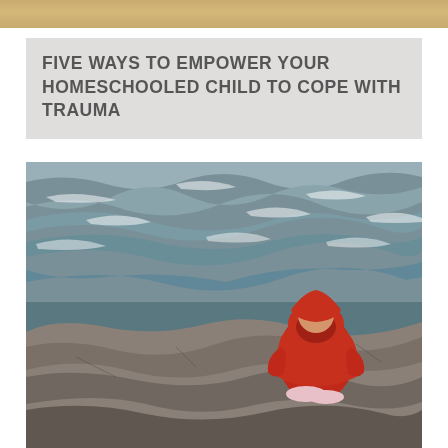FIVE WAYS TO EMPOWER YOUR HOMESCHOOLED CHILD TO COPE WITH TRAUMA
[Figure (photo): A young child wearing a red hooded sweatshirt sits alone on large rocks facing a choppy grey ocean, viewed from behind.]